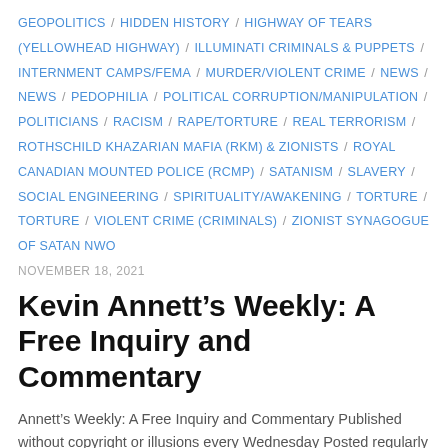GEOPOLITICS / HIDDEN HISTORY / HIGHWAY OF TEARS (YELLOWHEAD HIGHWAY) / ILLUMINATI CRIMINALS & PUPPETS / INTERNMENT CAMPS/FEMA / MURDER/VIOLENT CRIME / NEWS / NEWS / PEDOPHILIA / POLITICAL CORRUPTION/MANIPULATION / POLITICIANS / RACISM / RAPE/TORTURE / REAL TERRORISM / ROTHSCHILD KHAZARIAN MAFIA (RKM) & ZIONISTS / ROYAL CANADIAN MOUNTED POLICE (RCMP) / SATANISM / SLAVERY / SOCIAL ENGINEERING / SPIRITUALITY/AWAKENING / TORTURE / TORTURE / VIOLENT CRIME (CRIMINALS) / ZIONIST SYNAGOGUE OF SATAN NWO
NOVEMBER 18, 2021
Kevin Annett's Weekly: A Free Inquiry and Commentary
Annett's Weekly: A Free Inquiry and Commentary Published without copyright or illusions every Wednesday Posted regularly at https://republicofkanata.ca/category/annetts-weekly/ Special Edition – Issue No. 5: November 17, 2021 It Takes a Village to Commit and Conceal...